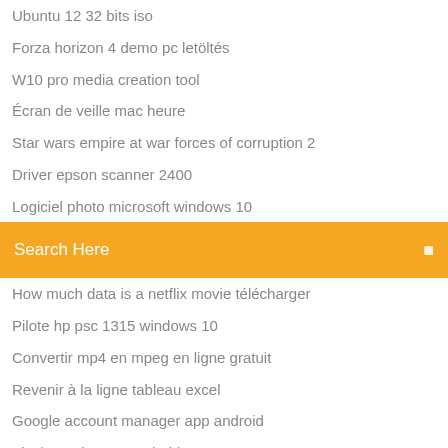Ubuntu 12 32 bits iso
Forza horizon 4 demo pc letöltés
W10 pro media creation tool
Écran de veille mac heure
Star wars empire at war forces of corruption 2
Driver epson scanner 2400
Logiciel photo microsoft windows 10
[Figure (screenshot): Orange search bar with text 'Search Here' and a search icon on the right]
How much data is a netflix movie télécharger
Pilote hp psc 1315 windows 10
Convertir mp4 en mpeg en ligne gratuit
Revenir à la ligne tableau excel
Google account manager app android
Flash version 9 0 android
Cyberlink youcam 7 gratuit télécharger for windows 10
Meilleur antivirus gratuit windows 10 2020
Effacer disque dur pc windows 7
Whatsapp pc windows 10 télécharger